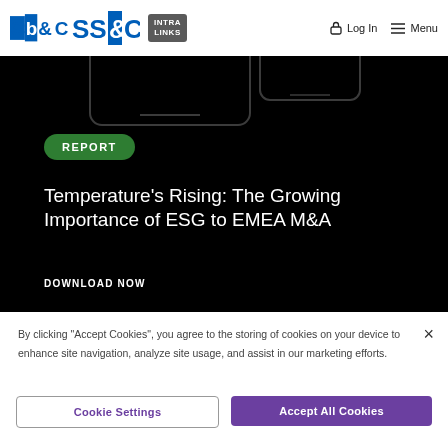[Figure (screenshot): SS&C Intralinks website navigation bar with SS&C logo, Intralinks badge, Log In and Menu options]
[Figure (screenshot): Dark hero section with faded device/tablet imagery in the background]
REPORT
Temperature's Rising: The Growing Importance of ESG to EMEA M&A
DOWNLOAD NOW
By clicking "Accept Cookies", you agree to the storing of cookies on your device to enhance site navigation, analyze site usage, and assist in our marketing efforts.
Cookie Settings
Accept All Cookies